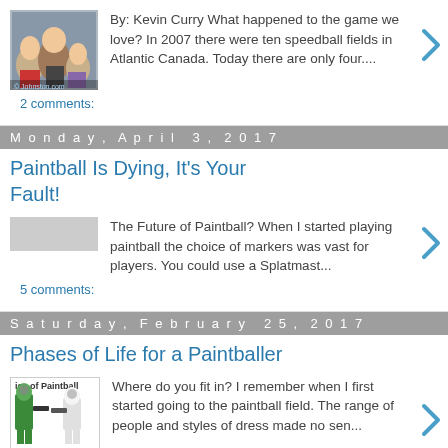By: Kevin Curry What happened to the game we love? In 2007 there were ten speedball fields in Atlantic Canada. Today there are only four....
2 comments:
Monday, April 3, 2017
Paintball Is Dying, It's Your Fault!
The Future of Paintball? When I started playing paintball the choice of markers was vast for players. You could use a Splatmast...
5 comments:
Saturday, February 25, 2017
Phases of Life for a Paintballer
Where do you fit in? I remember when I first started going to the paintball field. The range of people and styles of dress made no sen...